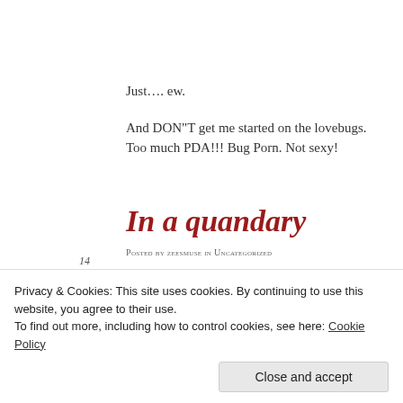Just…. ew.
And DON"T get me started on the lovebugs. Too much PDA!!! Bug Porn. Not sexy!
14
Thursday
Sep 2017
In a quandary
Posted by zeesmuse in Uncategorized = 23 Comments
Privacy & Cookies: This site uses cookies. By continuing to use this website, you agree to their use.
To find out more, including how to control cookies, see here: Cookie Policy
Close and accept